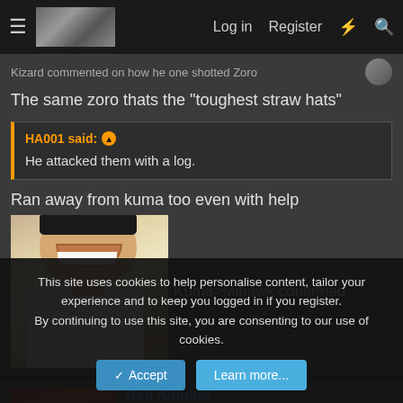Log in  Register
Kizard commented on how he one shotted Zoro
The same zoro thats the "toughest straw hats"
HA001 said: ↑
He attacked them with a log.
Ran away from kuma too even with help
[Figure (photo): Laughing man meme image (Leonardo DiCaprio laughing) with text 'Kuma>Mihawk confirmed']
Red Admiral
[Figure (illustration): Anime character avatar with red hair]
[Figure (illustration): Anime scene thumbnail]
This site uses cookies to help personalise content, tailor your experience and to keep you logged in if you register.
By continuing to use this site, you are consenting to our use of cookies.
Accept  Learn more...